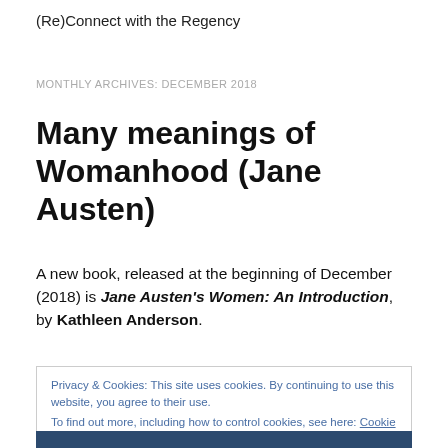(Re)Connect with the Regency
MONTHLY ARCHIVES: DECEMBER 2018
Many meanings of Womanhood (Jane Austen)
A new book, released at the beginning of December (2018) is Jane Austen's Women: An Introduction, by Kathleen Anderson.
Privacy & Cookies: This site uses cookies. By continuing to use this website, you agree to their use.
To find out more, including how to control cookies, see here: Cookie Policy
Close and accept